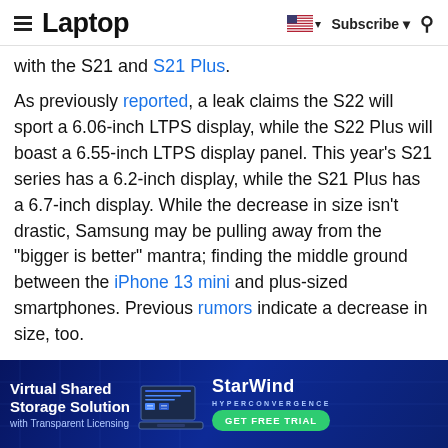Laptop | Subscribe | Search
with the S21 and S21 Plus.
As previously reported, a leak claims the S22 will sport a 6.06-inch LTPS display, while the S22 Plus will boast a 6.55-inch LTPS display panel. This year's S21 series has a 6.2-inch display, while the S21 Plus has a 6.7-inch display. While the decrease in size isn't drastic, Samsung may be pulling away from the "bigger is better" mantra; finding the middle ground between the iPhone 13 mini and plus-sized smartphones. Previous rumors indicate a decrease in size, too.
Apparently, the S22 and S22 Plus will have 3,800 mAh and 4,600mAh batteries, respectively. That's smaller
[Figure (screenshot): Advertisement banner for StarWind Hyperconvergence Virtual Shared Storage Solution with Transparent Licensing and GET FREE TRIAL button]